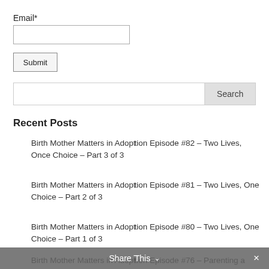Email*
[email input field]
Submit
[search input with Search button]
Recent Posts
Birth Mother Matters in Adoption Episode #82 – Two Lives, Once Choice – Part 3 of 3
Birth Mother Matters in Adoption Episode #81 – Two Lives, One Choice – Part 2 of 3
Birth Mother Matters in Adoption Episode #80 – Two Lives, One Choice – Part 1 of 3
Birth Mother Matters in Adoption Episode #76 – Parenting a Child Adopted at Birth
Share This